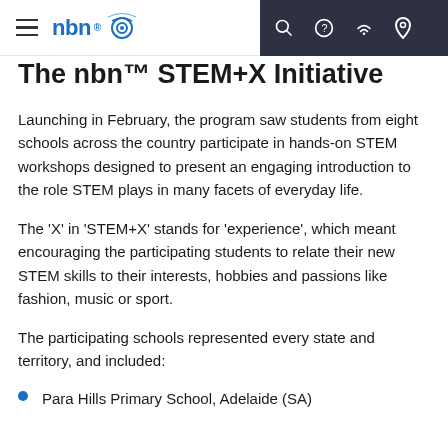nbn — STEM+X Initiative (navigation bar)
The nbn™ STEM+X Initiative
Launching in February, the program saw students from eight schools across the country participate in hands-on STEM workshops designed to present an engaging introduction to the role STEM plays in many facets of everyday life.
The 'X' in 'STEM+X' stands for 'experience', which meant encouraging the participating students to relate their new STEM skills to their interests, hobbies and passions like fashion, music or sport.
The participating schools represented every state and territory, and included:
Para Hills Primary School, Adelaide (SA)